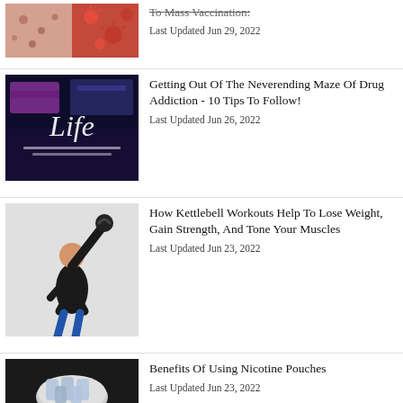[Figure (photo): Skin with spots and red virus particles illustration - partial at top]
To Mass Vaccination:
Last Updated Jun 29, 2022
[Figure (photo): Dark background with 'Life' written in white powder/substance, drug addiction imagery]
Getting Out Of The Neverending Maze Of Drug Addiction - 10 Tips To Follow!
Last Updated Jun 26, 2022
[Figure (photo): Man in black tank top performing kettlebell workout exercise on white/grey background]
How Kettlebell Workouts Help To Lose Weight, Gain Strength, And Tone Your Muscles
Last Updated Jun 23, 2022
[Figure (photo): Hand holding a round container filled with white nicotine pouches on dark background]
Benefits Of Using Nicotine Pouches
Last Updated Jun 23, 2022